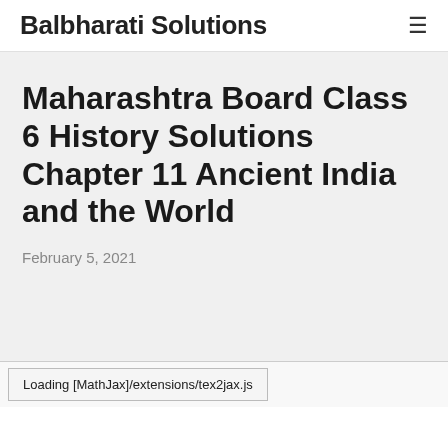Balbharati Solutions
Maharashtra Board Class 6 History Solutions Chapter 11 Ancient India and the World
February 5, 2021
Loading [MathJax]/extensions/tex2jax.js